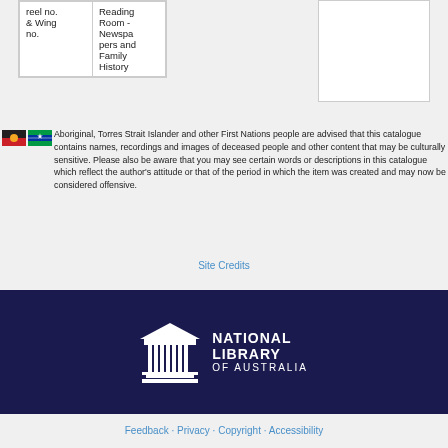| reel no. & Wing no. | Room - Newspapers and Family History |
| --- | --- |
Aboriginal, Torres Strait Islander and other First Nations people are advised that this catalogue contains names, recordings and images of deceased people and other content that may be culturally sensitive. Please also be aware that you may see certain words or descriptions in this catalogue which reflect the author's attitude or that of the period in which the item was created and may now be considered offensive.
Site Credits
[Figure (logo): National Library of Australia logo with white columned building icon and text NATIONAL LIBRARY OF AUSTRALIA on dark navy background]
Feedback · Privacy · Copyright · Accessibility